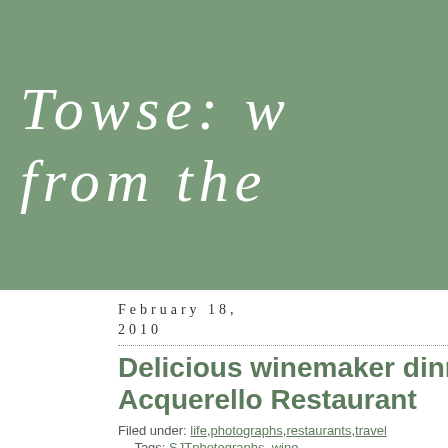Towse: w from the
February 18, 2010
Delicious winemaker dinner at Acquerello Restaurant
Filed under: life, photographs, restaurants, travel — Tags: SJTphotographs, wine — Towse @ 4:19 am
Delicious winemaker
dinner at Acquerello
pages:
about
blogroll
development blog
documentation
plugins
suggest ideas
support forum
themes
wordpress planet
categories:
app
architecture
art
blog
book promotion
books
bookstores
california
causes
commentary
contest
culture
damn
design
economy
environment